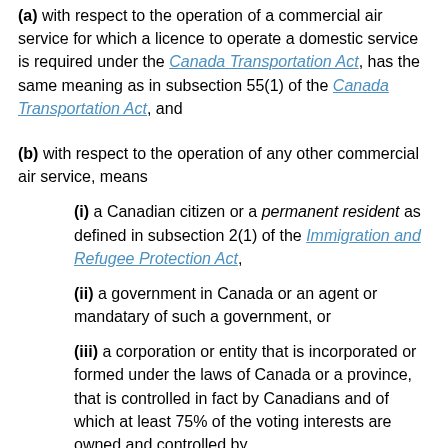(a) with respect to the operation of a commercial air service for which a licence to operate a domestic service is required under the Canada Transportation Act, has the same meaning as in subsection 55(1) of the Canada Transportation Act, and
(b) with respect to the operation of any other commercial air service, means
(i) a Canadian citizen or a permanent resident as defined in subsection 2(1) of the Immigration and Refugee Protection Act,
(ii) a government in Canada or an agent or mandatary of such a government, or
(iii) a corporation or entity that is incorporated or formed under the laws of Canada or a province, that is controlled in fact by Canadians and of which at least 75% of the voting interests are owned and controlled by